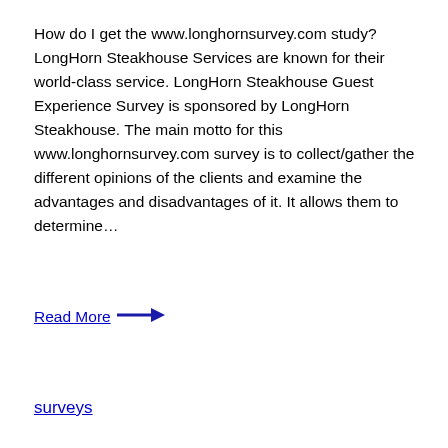How do I get the www.longhornsurvey.com study? LongHorn Steakhouse Services are known for their world-class service. LongHorn Steakhouse Guest Experience Survey is sponsored by LongHorn Steakhouse. The main motto for this www.longhornsurvey.com survey is to collect/gather the different opinions of the clients and examine the advantages and disadvantages of it. It allows them to determine…
Read More →
surveys